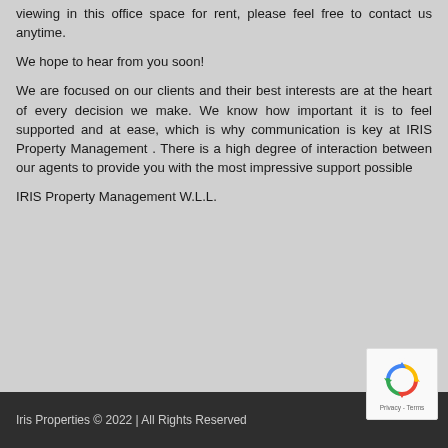viewing in this office space for rent, please feel free to contact us anytime.
We hope to hear from you soon!
We are focused on our clients and their best interests are at the heart of every decision we make. We know how important it is to feel supported and at ease, which is why communication is key at IRIS Property Management . There is a high degree of interaction between our agents to provide you with the most impressive support possible
IRIS Property Management W.L.L.
Iris Properties © 2022 | All Rights Reserved